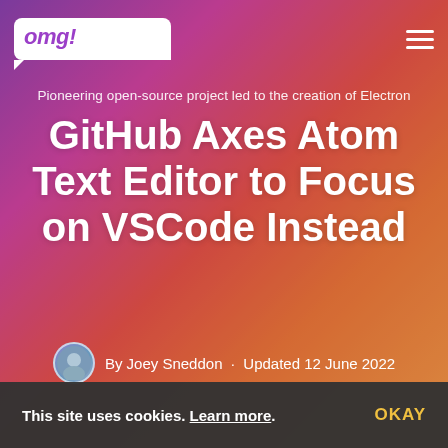omg! ubuntu!
Pioneering open-source project led to the creation of Electron
GitHub Axes Atom Text Editor to Focus on VSCode Instead
By Joey Sneddon · Updated 12 June 2022
This site uses cookies. Learn more. OKAY